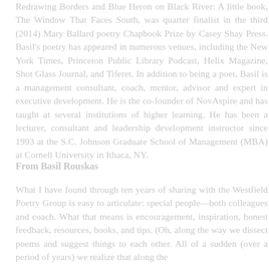Redrawing Borders and Blue Heron on Black River: A little book, The Window That Faces South, was quarter finalist in the third (2014) Mary Ballard poetry Chapbook Prize by Casey Shay Press. Basil's poetry has appeared in numerous venues, including the New York Times, Princeton Public Library Podcast, Helix Magazine, Shot Glass Journal, and Tiferet. In addition to being a poet, Basil is a management consultant, coach, mentor, advisor and expert in executive development. He is the co-founder of NovAspire and has taught at several institutions of higher learning. He has been a lecturer, consultant and leadership development instructor since 1993 at the S.C. Johnson Graduate School of Management (MBA) at Cornell University in Ithaca, NY.
From Basil Rouskas
What I have found through ten years of sharing with the Westfield Poetry Group is easy to articulate: special people—both colleagues and coach. What that means is encouragement, inspiration, honest feedback, resources, books, and tips. (Oh, along the way we dissect poems and suggest things to each other. All of a sudden (over a period of years) we realize that along the